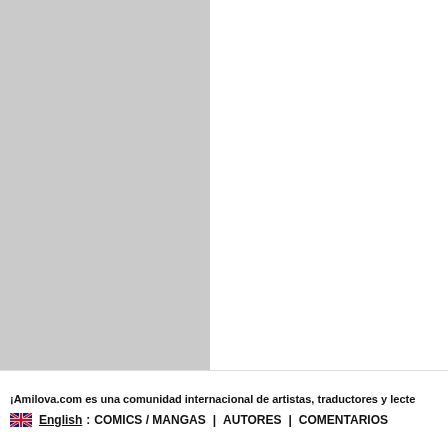[Figure (illustration): Two-panel layout: left half is a gray rectangle, right half is a white rounded rectangle, forming a comic/manga page viewer layout.]
¡Amilova.com es una comunidad internacional de artistas, traductores y lecte
English : COMICS / MANGAS | AUTORES | COMENTARIOS